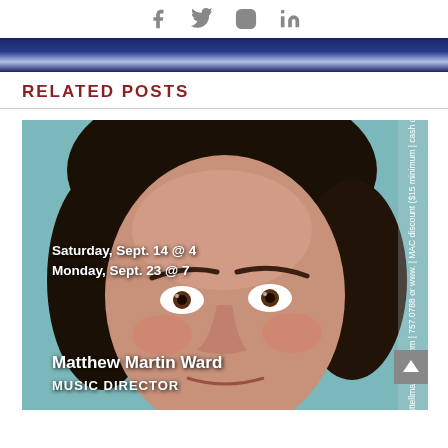[Figure (other): Social media icons: Facebook, Twitter, Instagram, LinkedIn]
[Figure (illustration): Dark navy blue banner/divider bar with light reflection in center]
RELATED POSTS
[Figure (photo): Headshot photo of Matthew Martin Ward against teal background. Text overlay: 'Saturday, Sept. 14 @ 4 / Monday, Sept. 23 @ 7'. Name: Matthew Martin Ward, Title: MUSIC DIRECTOR. Right side rotated text with website and ticket info.]
Saturday, Sept. 14 @ 4
Monday, Sept. 23 @ 7
Matthew Martin Ward
MUSIC DIRECTOR